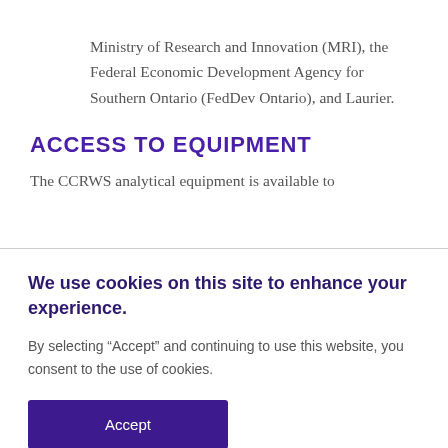Ministry of Research and Innovation (MRI), the Federal Economic Development Agency for Southern Ontario (FedDev Ontario), and Laurier.
ACCESS TO EQUIPMENT
The CCRWS analytical equipment is available to
We use cookies on this site to enhance your experience.
By selecting “Accept” and continuing to use this website, you consent to the use of cookies.
Accept